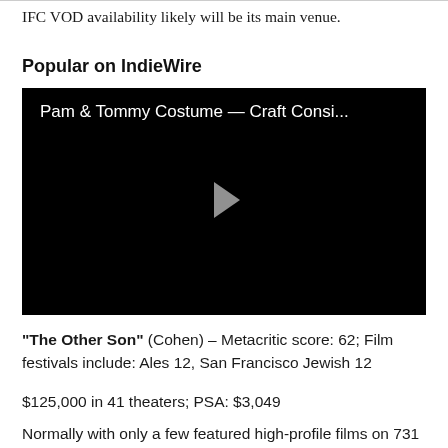IFC VOD availability likely will be its main venue.
Popular on IndieWire
[Figure (screenshot): Video player with black background showing title 'Pam & Tommy Costume — Craft Consi...' and a play button in the center]
"The Other Son" (Cohen) – Metacritic score: 62; Film festivals include: Ales 12, San Francisco Jewish 12
$125,000 in 41 theaters; PSA: $3,049
Normally with only a few featured high-profile films on 731 if...